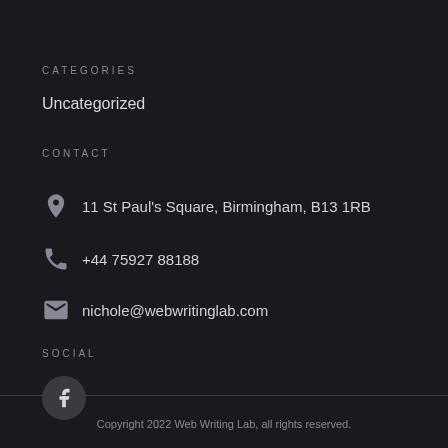CATEGORIES
Uncategorized
CONTACT
11 St Paul's Square, Birmingham, B13 1RB
+44 75927 88188
nichole@webwritinglab.com
SOCIAL
[Figure (logo): Facebook icon in a dark circle]
Copyright 2022 Web Writing Lab, all rights reserved.